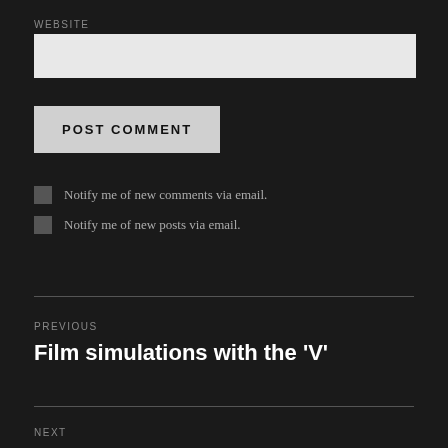WEBSITE
[Figure (screenshot): Empty text input field for website URL, light gray background]
POST COMMENT
Notify me of new comments via email.
Notify me of new posts via email.
PREVIOUS
Film simulations with the 'V'
NEXT